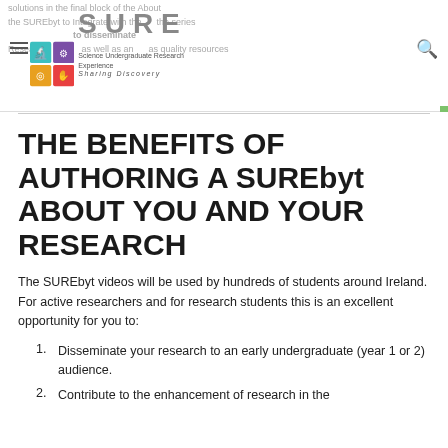SURE — Science Undergraduate Research Experience — Sharing Discovery
THE BENEFITS OF AUTHORING A SUREbyt ABOUT YOU AND YOUR RESEARCH
The SUREbyt videos will be used by hundreds of students around Ireland. For active researchers and for research students this is an excellent opportunity for you to:
Disseminate your research to an early undergraduate (year 1 or 2) audience.
Contribute to the enhancement of research in the ...